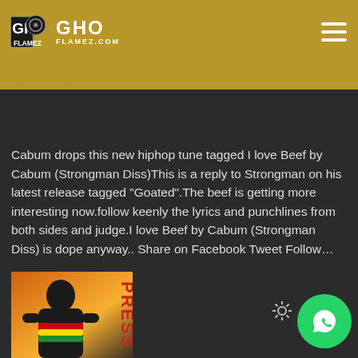GHO FLAMEZ.COM
(Strongman Diss)
Cabum drops this new hiphop tune tagged I love Beef by Cabum (Strongman Diss)This is a reply to Strongman on his latest release tagged "Goated".The beef is getting more interesting now.follow keenly the lyrics and punchlines from both sides and judge.I love Beef by Cabum (Strongman Diss) is dope anyway.. Share on Facebook Tweet Follow…
[Figure (photo): Thumbnail image of a musician in a black hoodie with rasta-colored details, against an orange/yellow background with red 'PRESS' text rotated vertically]